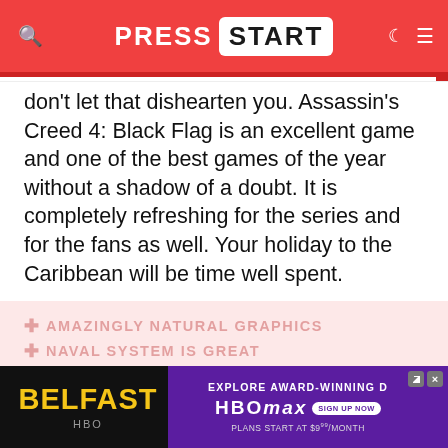PRESS START
don't let that dishearten you. Assassin's Creed 4: Black Flag is an excellent game and one of the best games of the year without a shadow of a doubt. It is completely refreshing for the series and for the fans as well. Your holiday to the Caribbean will be time well spent.
AMAZINGLY NATURAL GRAPHICS
NAVAL SYSTEM IS GREAT
OPEN WORLD WITH PLETHORA OF ACTIVITIES
REPETITIVE MISSION STRUCTURE
STORY NOT IS DEEP AS FANS ARE USED TO
[Figure (screenshot): Advertisement banner for Belfast (HBO) with HBO Max subscription offer. Black left section shows 'BELFAST' in yellow bold text with 'HBO' below. Purple right section shows 'EXPLORE AWARD-WINNING D...' text, HBO Max logo with 'SIGN UP NOW' button, and 'PLANS START AT $9.99/MONTH' text.]